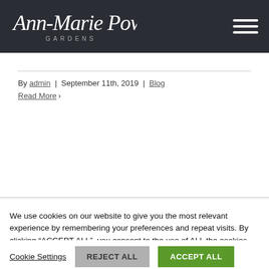Ann-Marie Powell Gardens
By admin | September 11th, 2019 | Blog
Read More >
We use cookies on our website to give you the most relevant experience by remembering your preferences and repeat visits. By clicking “ACCEPT ALL”, you consent to the use of ALL the cookies. However, you may visit "Cookie Settings" to provide a controlled consent.
Cookie Settings   REJECT ALL   ACCEPT ALL